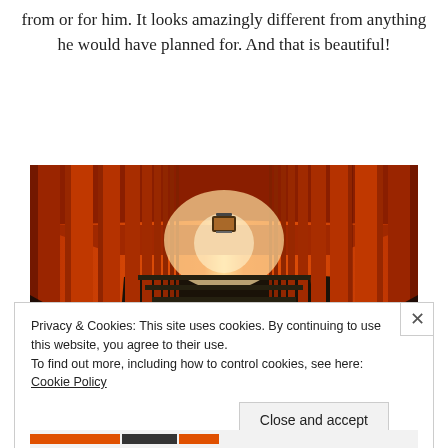from or for him. It looks amazingly different from anything he would have planned for. And that is beautiful!
[Figure (photo): A corridor of orange/red torii gates (Fushimi Inari shrine style) receding into the distance, with a dark stone path and wooden lantern visible in the middle distance.]
Privacy & Cookies: This site uses cookies. By continuing to use this website, you agree to their use.
To find out more, including how to control cookies, see here: Cookie Policy
Close and accept